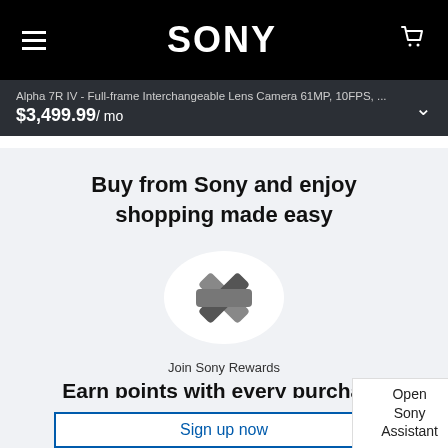SONY
Alpha 7R IV - Full-frame Interchangeable Lens Camera 61MP, 10FPS, ... $3,499.99/ mo
Buy from Sony and enjoy shopping made easy
[Figure (logo): Sony Rewards star/asterisk icon in a white circle on a light grey background]
Join Sony Rewards
Earn points with every purchase
Sign up now
Open Sony Assistant